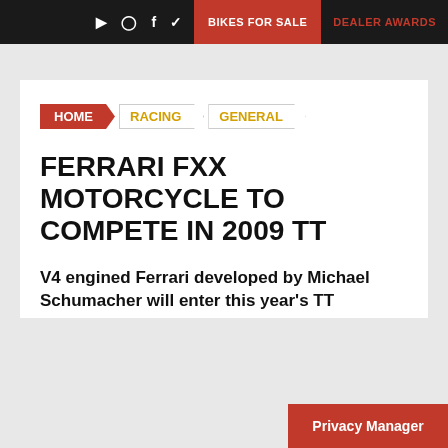BIKES FOR SALE | DEALER AWARDS
HOME
RACING
GENERAL
FERRARI FXX MOTORCYCLE TO COMPETE IN 2009 TT
V4 engined Ferrari developed by Michael Schumacher will enter this year's TT